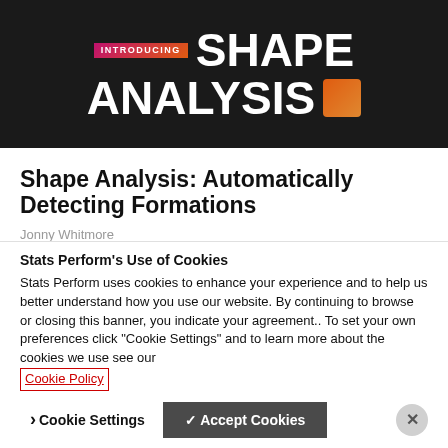[Figure (illustration): Dark banner with 'INTRODUCING SHAPE ANALYSIS' text. 'INTRODUCING' in a pink-to-orange gradient badge, 'SHAPE ANALYSIS' in large bold white text with an orange gradient square icon.]
Shape Analysis: Automatically Detecting Formations
Jonny Whitmore
Stats Perform's Use of Cookies
Stats Perform uses cookies to enhance your experience and to help us better understand how you use our website. By continuing to browse or closing this banner, you indicate your agreement.. To set your own preferences click "Cookie Settings" and to learn more about the cookies we use see our Cookie Policy
Cookie Settings   ✓ Accept Cookies   ×